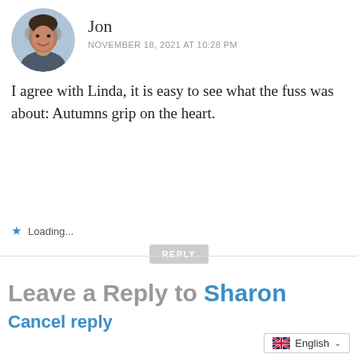[Figure (photo): Circular profile photo of a middle-aged man smiling]
Jon
NOVEMBER 18, 2021 AT 10:28 PM
I agree with Linda, it is easy to see what the fuss was about: Autumns grip on the heart.
Loading...
REPLY
Leave a Reply to Sharon
Cancel reply
English